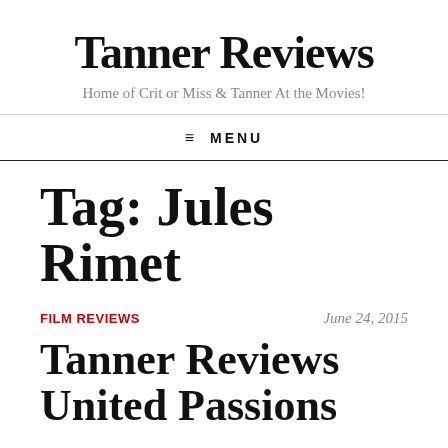Tanner Reviews
Home of Crit or Miss & Tanner At the Movies!
≡ MENU
Tag: Jules Rimet
FILM REVIEWS
June 24, 2015
Tanner Reviews United Passions